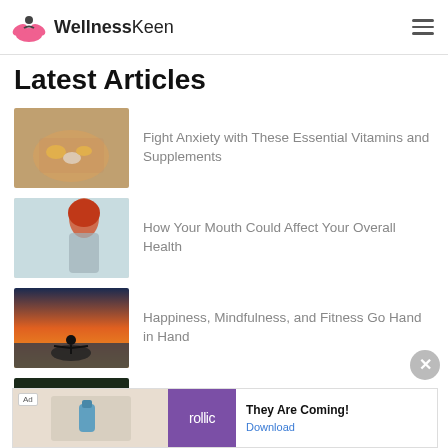WellnessKeen
Latest Articles
Fight Anxiety with These Essential Vitamins and Supplements
[Figure (photo): Hand holding vitamins and supplement pills]
How Your Mouth Could Affect Your Overall Health
[Figure (photo): Woman with red hair drinking water]
Happiness, Mindfulness, and Fitness Go Hand in Hand
[Figure (photo): Person sitting on rocks with arms outstretched at sunset]
5 Wellness Tips for Daily Success
[Figure (photo): Person standing near water — partial image]
[Figure (screenshot): Ad banner: Rollic game ad — They Are Coming! Download]